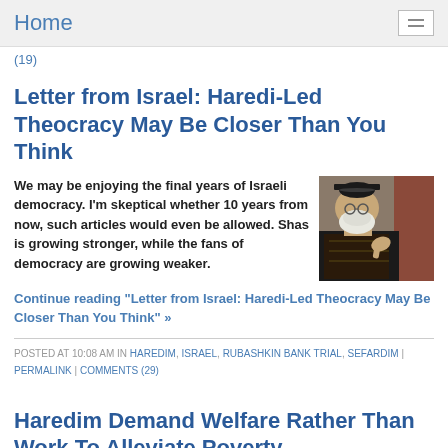Home
(19)
Letter from Israel: Haredi-Led Theocracy May Be Closer Than You Think
We may be enjoying the final years of Israeli democracy. I'm skeptical whether 10 years from now, such articles would even be allowed. Shas is growing stronger, while the fans of democracy are growing weaker.
[Figure (photo): Photo of a bearded rabbi in traditional black hat and robes, gesturing with his hand]
Continue reading "Letter from Israel: Haredi-Led Theocracy May Be Closer Than You Think" »
POSTED AT 10:08 AM IN HAREDIM, ISRAEL, RUBASHKIN BANK TRIAL, SEFARDIM | PERMALINK | COMMENTS (29)
Haredim Demand Welfare Rather Than Work To Alleviate Poverty